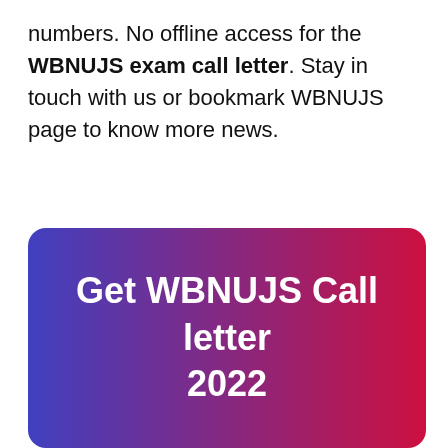numbers. No offline access for the WBNUJS exam call letter. Stay in touch with us or bookmark WBNUJS page to know more news.
[Figure (other): A button-style banner with a purple to red gradient background and white bold text reading 'Get WBNUJS Call letter 2022']